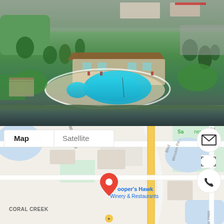[Figure (photo): Aerial drone photo of a Florida residential community showing a large freeform pool with hot tub, pool deck, clubhouse building with brown/tan roof, surrounding green lawn, palm trees, parking areas, adjacent road, and a waterway/lake in the foreground. Commercial buildings visible in the background.]
[Figure (screenshot): Google Maps screenshot showing the area around Coral Creek community in South Florida. Map view with 'Map' and 'Satellite' toggle buttons. Shows Winston Park Blvd, Lyons Rd, Wiles Rd, a red location pin indicating Cooper's Hawk Winery & Restaurants, CORAL CREEK label, and surrounding blue water areas and green spaces. Email and phone icon buttons on the right side.]